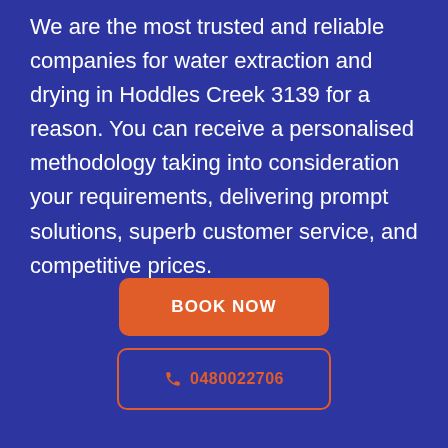We are the most trusted and reliable companies for water extraction and drying in Hoddles Creek 3139 for a reason. You can receive a personalised methodology taking into consideration your requirements, delivering prompt solutions, superb customer service, and competitive prices.
BOOK NOW
0480022706